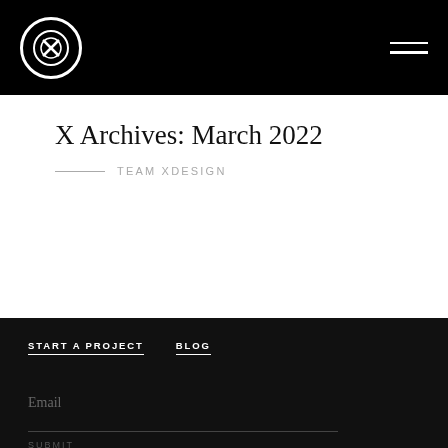X Archives: March 2022 — TEAM XDESIGN
X Archives: March 2022
TEAM XDESIGN
START A PROJECT
BLOG
Email
SUBMIT
XDESIGN INC